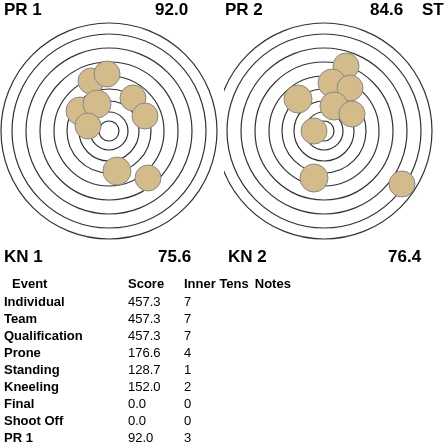[Figure (other): Shooting target diagram for KN 1 showing bullet hole positions on concentric ring target, score 75.6]
[Figure (other): Shooting target diagram for KN 2 showing bullet hole positions on concentric ring target, score 76.4]
| Event | Score | Inner Tens | Notes |
| --- | --- | --- | --- |
| Individual | 457.3 | 7 |  |
| Team | 457.3 | 7 |  |
| Qualification | 457.3 | 7 |  |
| Prone | 176.6 | 4 |  |
| Standing | 128.7 | 1 |  |
| Kneeling | 152.0 | 2 |  |
| Final | 0.0 | 0 |  |
| Shoot Off | 0.0 | 0 |  |
| PR 1 | 92.0 | 3 |  |
| PR 2 | 84.6 | 1 |  |
| ST 1 | 63.5 | 0 |  |
| ST 2 | 65.2 | 1 |  |
| KN 1 | 75.6 | 1 |  |